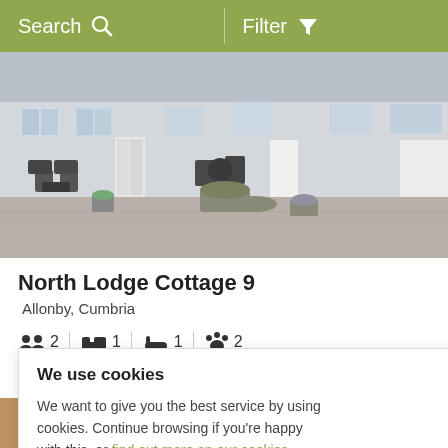Search  Filter
[Figure (photo): Exterior of North Lodge Cottage 9: white/grey stone cottages with blue-trimmed windows, gravel courtyard, outdoor chairs and planters with flowers]
North Lodge Cottage 9
Allonby, Cumbria
2  1  1  2
We use cookies
We want to give you the best service by using cookies. Continue browsing if you're happy with this, or find out more on our cookies.
0-£580
[Figure (photo): Bottom strip: warm toned photo partially visible at bottom of page]